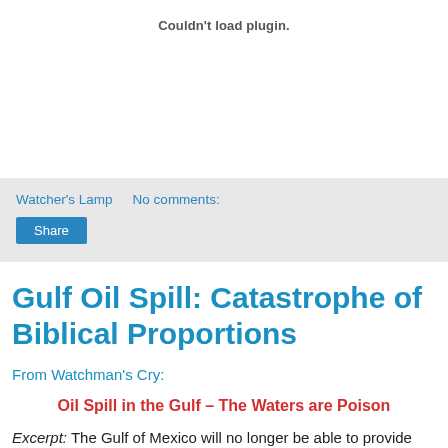Couldn't load plugin.
Watcher's Lamp    No comments:
Share
Gulf Oil Spill: Catastrophe of Biblical Proportions
From Watchman's Cry:
Oil Spill in the Gulf – The Waters are Poison
Excerpt: The Gulf of Mexico will no longer be able to provide seafood for America. America obtains approximately 40 to